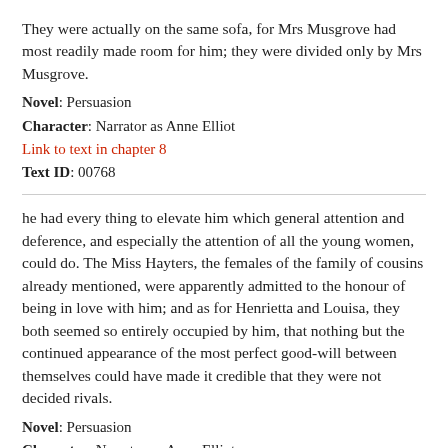They were actually on the same sofa, for Mrs Musgrove had most readily made room for him; they were divided only by Mrs Musgrove.
Novel: Persuasion
Character: Narrator as Anne Elliot
Link to text in chapter 8
Text ID: 00768
he had every thing to elevate him which general attention and deference, and especially the attention of all the young women, could do. The Miss Hayters, the females of the family of cousins already mentioned, were apparently admitted to the honour of being in love with him; and as for Henrietta and Louisa, they both seemed so entirely occupied by him, that nothing but the continued appearance of the most perfect good-will between themselves could have made it credible that they were not decided rivals.
Novel: Persuasion
Character: Narrator as Anne Elliot
Link to text in chapter 8